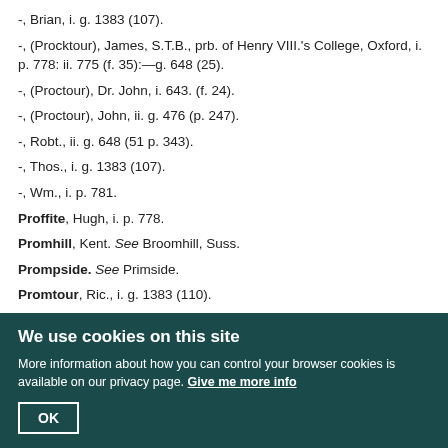-, Brian, i. g. 1383 (107).
-, (Procktour), James, S.T.B., prb. of Henry VIII.'s College, Oxford, i. p. 778: ii. 775 (f. 35):—g. 648 (25).
-, (Proctour), Dr. John, i. 643. (f. 24).
-, (Proctour), John, ii. g. 476 (p. 247).
-, Robt., ii. g. 648 (51 p. 343).
-, Thos., i. g. 1383 (107).
-, Wm., i. p. 781.
Proffite, Hugh, i. p. 778.
Promhill, Kent. See Broomhill, Suss.
Prompside. See Primside.
Promtour, Ric., i. g. 1383 (110).
Prophecies, i. 1013, 1027, 1410.
We use cookies on this site
More information about how you can control your browser cookies is available on our privacy page. Give me more info
OK